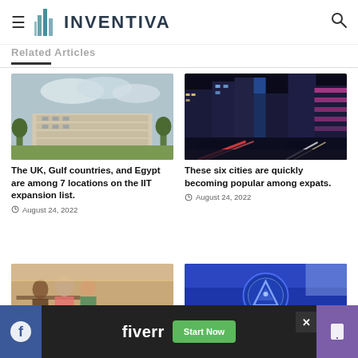INVENTIVA
Related Articles
[Figure (photo): Multi-story institutional building with curved facade, surrounded by greenery under cloudy sky]
The UK, Gulf countries, and Egypt are among 7 locations on the IIT expansion list.
August 24, 2022
[Figure (photo): Nighttime cityscape with tall illuminated skyscrapers and light trails from traffic]
These six cities are quickly becoming popular among expats.
August 24, 2022
[Figure (photo): Group of people in a meeting or discussion, partially visible]
[Figure (photo): Blue background with a circular coin or badge featuring a triangle/arrow symbol]